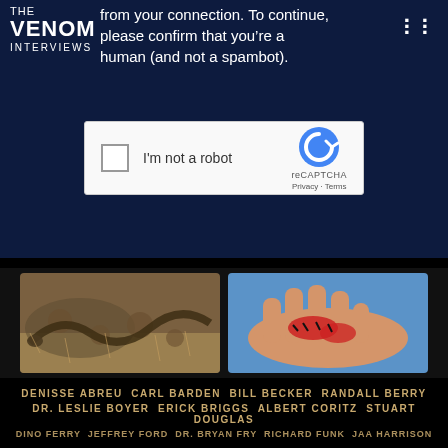THE VENOM INTERVIEWS
from your connection. To continue, please confirm that you’re a human (and not a spambot).
[Figure (screenshot): reCAPTCHA widget with checkbox labeled 'I'm not a robot' and reCAPTCHA logo with Privacy and Terms links]
[Figure (photo): Photo of a snake camouflaged in dry grass and rocks]
[Figure (photo): Photo of a human hand with a bloody wound and stitches]
DENISSE ABREU  CARL BARDEN  BILL BECKER  RANDALL BERRY  DR. LESLIE BOYER  ERICK BRIGGS  ALBERT CORITZ  STUART DOUGLAS  DINO FERRY  JEFFREY FORD  DR. BRYAN FRY  RICHARD FUNK  JAA HARRISON